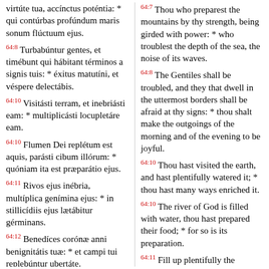virtúte tua, accínctus poténtia: * qui contúrbas profúndum maris sonum flúctuum ejus.
64:8 Turbabúntur gentes, et timébunt qui hábitant términos a signis tuis: * éxitus matutíni, et véspere delectábis.
64:10 Visitásti terram, et inebriásti eam: * multiplicásti locupletáre eam.
64:10 Flumen Dei replétum est aquis, parásti cibum illórum: * quóniam ita est præparátio ejus.
64:11 Rivos ejus inébria, multíplica genímina ejus: * in stillicídiis ejus lætábitur gérminans.
64:12 Benedíces corónæ anni benignitátis tuæ: * et campi tui replebúntur ubertáte.
64:13 Pinguéscent speciósa déserti: * et exsultatióne colles accingéntur.
64:7 Thou who preparest the mountains by thy strength, being girded with power: * who troublest the depth of the sea, the noise of its waves.
64:8 The Gentiles shall be troubled, and they that dwell in the uttermost borders shall be afraid at thy signs: * thou shalt make the outgoings of the morning and of the evening to be joyful.
64:10 Thou hast visited the earth, and hast plentifully watered it; * thou hast many ways enriched it.
64:10 The river of God is filled with water, thou hast prepared their food; * for so is its preparation.
64:11 Fill up plentifully the streams thereof, multiply its fruits; * it shall spring up and rejoice in its showers.
64:12 Thou shalt bless the